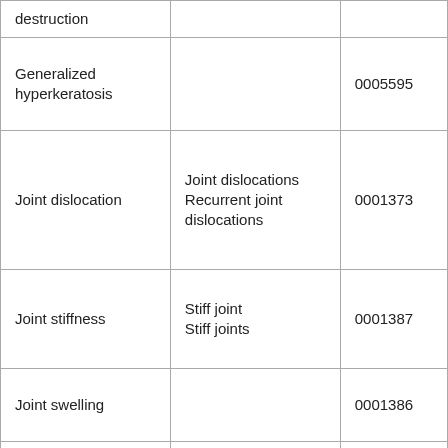|  |  |  |
| --- | --- | --- |
| destruction |  |  |
| Generalized hyperkeratosis |  | 0005595 |
| Joint dislocation | Joint dislocations
Recurrent joint dislocations | 0001373 |
| Joint stiffness | Stiff joint
Stiff joints | 0001387 |
| Joint swelling |  | 0001386 |
| Malabsorption | Intestinal malabsorption | 0002024 |
|  | Swollen lymph |  |